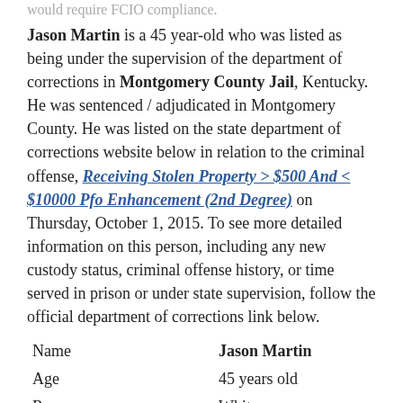would require FCIO compliance.
Jason Martin is a 45 year-old who was listed as being under the supervision of the department of corrections in Montgomery County Jail, Kentucky. He was sentenced / adjudicated in Montgomery County. He was listed on the state department of corrections website below in relation to the criminal offense, Receiving Stolen Property > $500 And < $10000 Pfo Enhancement (2nd Degree) on Thursday, October 1, 2015. To see more detailed information on this person, including any new custody status, criminal offense history, or time served in prison or under state supervision, follow the official department of corrections link below.
| Name | Jason Martin |
| Age | 45 years old |
| Race | White |
| Sentencing County | Montgomery |